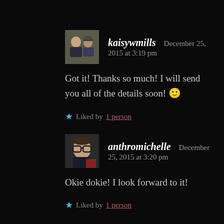[Figure (photo): Avatar showing two people (a woman and a man) for user kaisywmills]
kaisywmills   December 25, 2015 at 3:19 pm
Got it! Thanks so much! I will send you all of the details soon! 🙂
★ Liked by 1 person
[Figure (photo): Avatar showing a person wearing glasses for user anthromichelle]
anthromichelle   December 25, 2015 at 3:20 pm
Okie dokie! I look forward to it!
★ Liked by 1 person